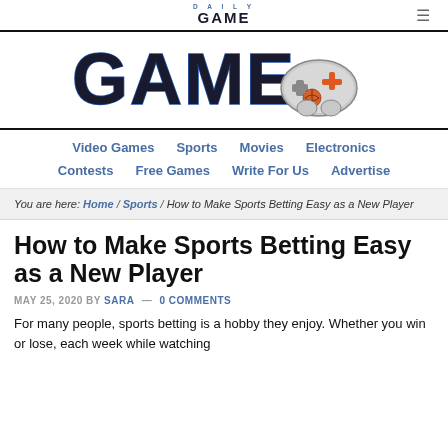DAILY GAME ≡
[Figure (logo): Daily Game logo with stylized 'GAME' text in bold black with blue outline and a game controller with basketball and plus button icon]
Video Games | Sports | Movies | Electronics | Contests | Free Games | Write For Us | Advertise
You are here: Home / Sports / How to Make Sports Betting Easy as a New Player
How to Make Sports Betting Easy as a New Player
MAY 25, 2020 BY SARA — 0 COMMENTS
For many people, sports betting is a hobby they enjoy. Whether you win or lose, each week while watching